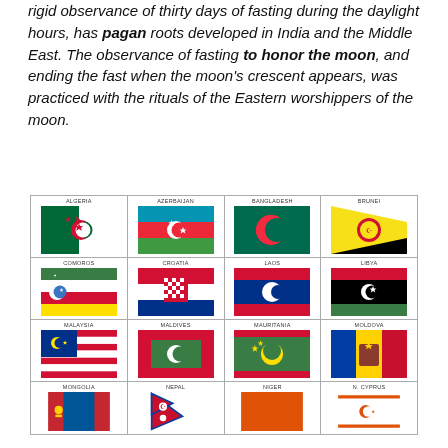rigid observance of thirty days of fasting during the daylight hours, has pagan roots developed in India and the Middle East. The observance of fasting to honor the moon, and ending the fast when the moon's crescent appears, was practiced with the rituals of the Eastern worshippers of the moon.
[Figure (illustration): Grid of national flags featuring crescent moon symbols, arranged in 4 columns and 4 rows (partial). Countries shown: Algeria, Azerbaijan, Bangladesh, Brunei, Comoros, Croatia, Laos, Libya, Malaysia, Maldives, Mauritania, Moldova, Mongolia, Nepal, Niger, N. Cyprus.]